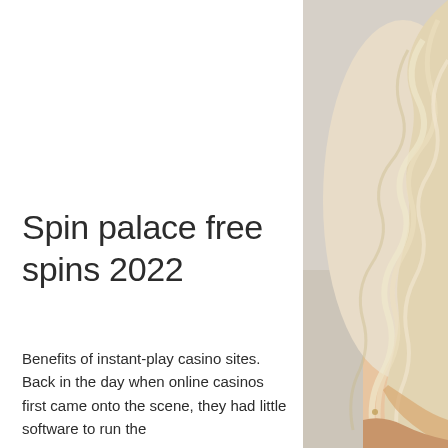[Figure (photo): Partial photo of a woman with long blonde curly hair against a light grey/beige background, cropped to show only the right side of the page — hair and bare shoulder visible.]
Spin palace free spins 2022
Benefits of instant-play casino sites. Back in the day when online casinos first came onto the scene, they had little software to run the